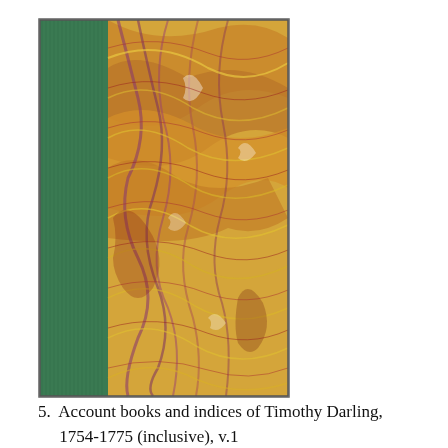[Figure (photo): Photo of a book with a green cloth spine on the left and a decorative marbled paper cover on the right, featuring swirling patterns in yellow, red, purple, and white.]
5.  Account books and indices of Timothy Darling, 1754-1775 (inclusive), v.1